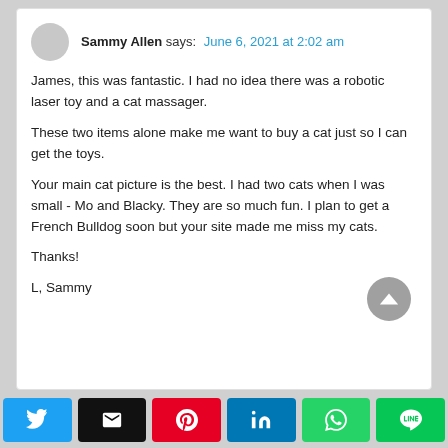Sammy Allen says: June 6, 2021 at 2:02 am
James, this was fantastic. I had no idea there was a robotic laser toy and a cat massager.
These two items alone make me want to buy a cat just so I can get the toys.
Your main cat picture is the best. I had two cats when I was small - Mo and Blacky. They are so much fun. I plan to get a French Bulldog soon but your site made me miss my cats.
Thanks!
L, Sammy